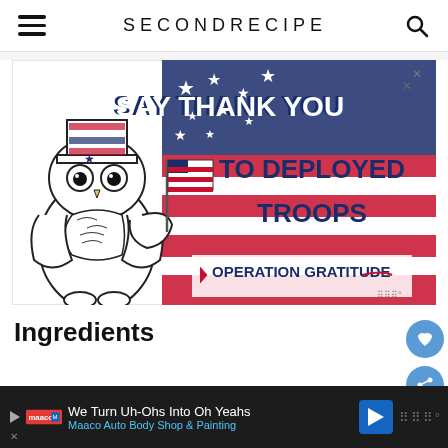SECONDRECIPE
[Figure (illustration): Advertisement banner for Operation Gratitude showing an owl cartoon wearing Uncle Sam hat holding an American flag, with sketched American flag background and text 'SAY THANK YOU TO DEPLOYED TROOPS' and 'OPERATION GRATITUDE' logo]
Ingredients
We Turn Uh-Ohs Into Oh Yeahs | Maaco Auto Body Shop & Painting